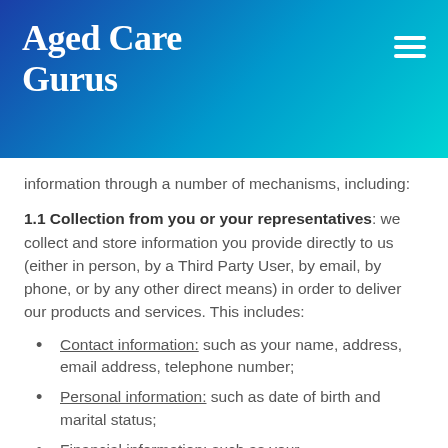Aged Care Gurus
information through a number of mechanisms, including:
1.1 Collection from you or your representatives: we collect and store information you provide directly to us (either in person, by a Third Party User, by email, by phone, or by any other direct means) in order to deliver our products and services. This includes:
Contact information: such as your name, address, email address, telephone number;
Personal information: such as date of birth and marital status;
Financial information: such as your